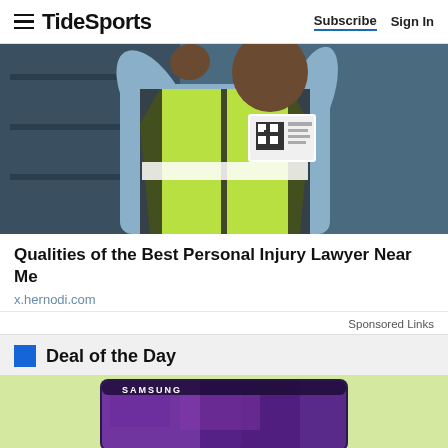TideSports — Subscribe | Sign In
[Figure (photo): Worker wearing a yellow-green high-visibility vest and light blue shirt in an industrial setting, photographed from chest up]
Qualities of the Best Personal Injury Lawyer Near Me
x.hernodi.com
Sponsored Links
Deal of the Day
[Figure (photo): Samsung curved gaming monitor displaying a purple-toned game screen, on a light green background]